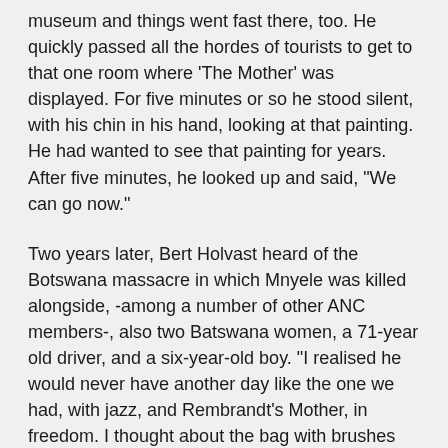museum and things went fast there, too. He quickly passed all the hordes of tourists to get to that one room where 'The Mother' was displayed. For five minutes or so he stood silent, with his chin in his hand, looking at that painting. He had wanted to see that painting for years. After five minutes, he looked up and said, "We can go now."
Two years later, Bert Holvast heard of the Botswana massacre in which Mnyele was killed alongside, -among a number of other ANC members-, also two Batswana women, a 71-year old driver, and a six-year-old boy. "I realised he would never have another day like the one we had, with jazz, and Rembrandt's Mother, in freedom. I thought about the bag with brushes and pencils he always carried with him and wondered what happened to it. The soldiers must have taken that, too."
Holvast calls the Thami Mnyele studio a 'Jacob's ladder'